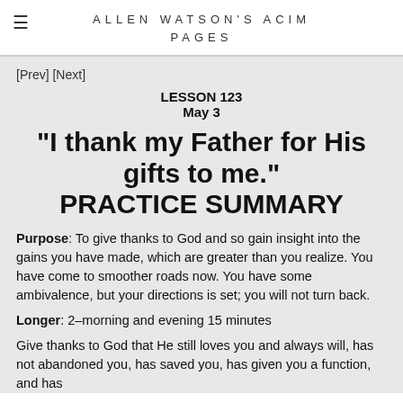ALLEN WATSON'S ACIM PAGES
[Prev] [Next]
LESSON 123
May 3
"I thank my Father for His gifts to me." PRACTICE SUMMARY
Purpose: To give thanks to God and so gain insight into the gains you have made, which are greater than you realize. You have come to smoother roads now. You have some ambivalence, but your directions is set; you will not turn back.
Longer: 2–morning and evening 15 minutes
Give thanks to God that He still loves you and always will, has not abandoned you, has saved you, has given you a function, and has